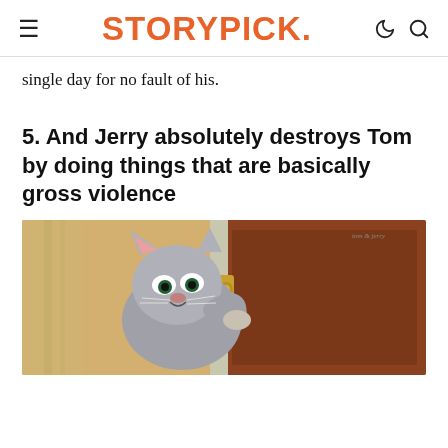STORYPICK.
single day for no fault of his.
5. And Jerry absolutely destroys Tom by doing things that are basically gross violence
[Figure (photo): Tom and Jerry cartoon still: Tom the cat leaning against a door, looking frustrated, with a red/brown background.]